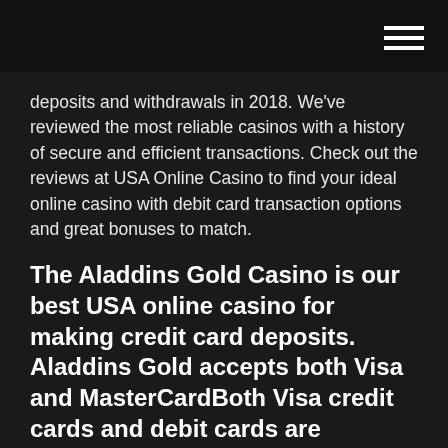deposits and withdrawals in 2018. We've reviewed the most reliable casinos with a history of secure and efficient transactions. Check out the reviews at USA Online Casino to find your ideal online casino with debit card transaction options and great bonuses to match.
The Aladdins Gold Casino is our best USA online casino for making credit card deposits. Aladdins Gold accepts both Visa and MasterCardBoth Visa credit cards and debit cards are approved with great success. For